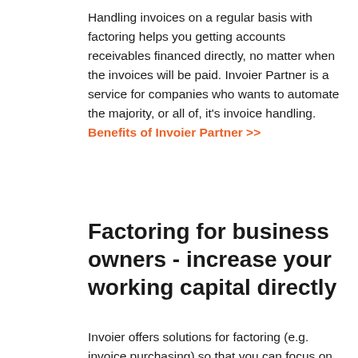Handling invoices on a regular basis with factoring helps you getting accounts receivables financed directly, no matter when the invoices will be paid. Invoier Partner is a service for companies who wants to automate the majority, or all of, it's invoice handling. Benefits of Invoier Partner >>
Factoring for business owners - increase your working capital directly
Invoier offers solutions for factoring (e.g. invoice purchasing) so that you can focus on your